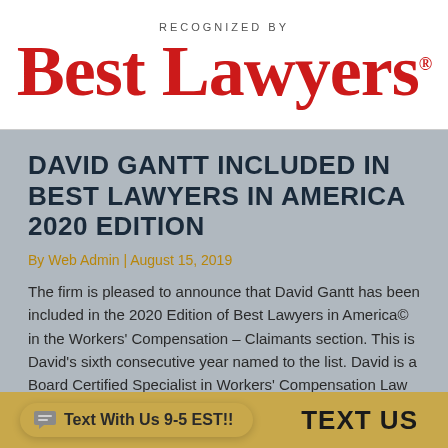[Figure (logo): Best Lawyers logo with 'RECOGNIZED BY' text above in grey and 'Best Lawyers' in large red serif font]
DAVID GANTT INCLUDED IN BEST LAWYERS IN AMERICA 2020 EDITION
By Web Admin | August 15, 2019
The firm is pleased to announce that David Gantt has been included in the 2020 Edition of Best Lawyers in America© in the Workers' Compensation – Claimants section. This is David's sixth consecutive year named to the list. David is a Board Certified Specialist in Workers' Compensation Law by the…
Text With Us 9-5 EST!!
LIVE CHAT
TEXT US